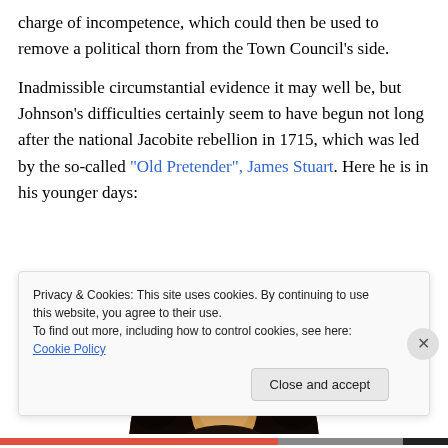charge of incompetence, which could then be used to remove a political thorn from the Town Council's side.
Inadmissible circumstantial evidence it may well be, but Johnson's difficulties certainly seem to have begun not long after the national Jacobite rebellion in 1715, which was led by the so-called "Old Pretender", James Stuart. Here he is in his younger days:
[Figure (photo): Circular portrait painting (top half visible) of a young man with dark curly hair against a dark background, showing the face illuminated — depicting James Stuart, the 'Old Pretender'.]
Privacy & Cookies: This site uses cookies. By continuing to use this website, you agree to their use. To find out more, including how to control cookies, see here: Cookie Policy